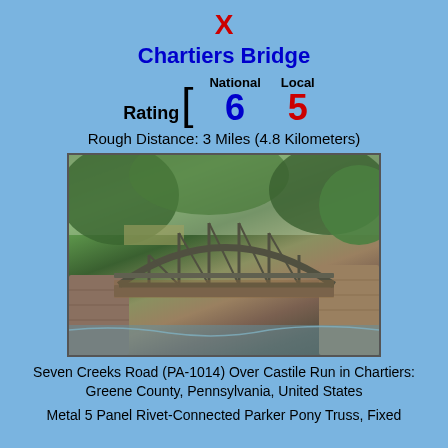X
Chartiers Bridge
Rating [ National 6  Local 5
Rough Distance: 3 Miles (4.8 Kilometers)
[Figure (photo): Photo of the Chartiers Bridge, a metal pony truss bridge over a creek, surrounded by green trees and stone abutments.]
Seven Creeks Road (PA-1014) Over Castile Run in Chartiers: Greene County, Pennsylvania, United States
Metal 5 Panel Rivet-Connected Parker Pony Truss, Fixed